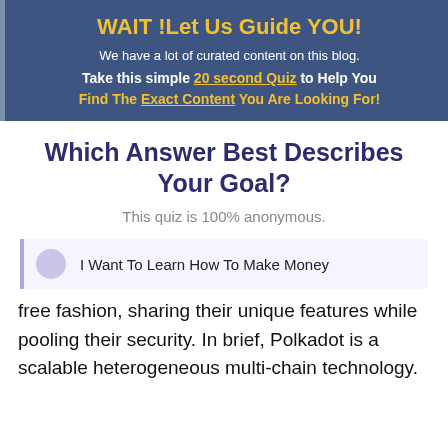WAIT !Let Us Guide YOU!
We have a lot of curated content on this blog.
Take this simple 20 second Quiz to Help You
Find The Exact Content You Are Looking For!
Which Answer Best Describes Your Goal?
This quiz is 100% anonymous.
I Want To Learn How To Make Money
free fashion, sharing their unique features while pooling their security. In brief, Polkadot is a scalable heterogeneous multi-chain technology.